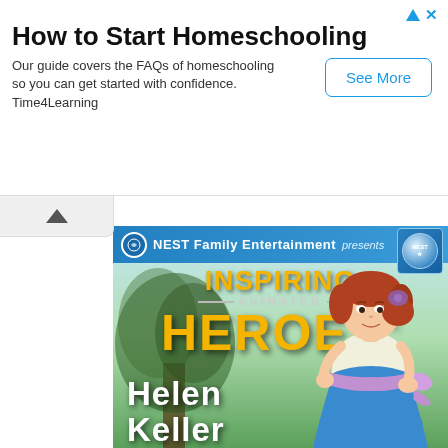How to Start Homeschooling
Our guide covers the FAQs of homeschooling so you can get started with confidence. Time4Learning
[Figure (illustration): Book cover for 'Inspiring Animated Heroes: Helen Keller' by NEST Family Entertainment, showing an animated cartoon girl with red hair wearing a blue dress and lavender sash, standing against a green outdoor background with a tree silhouette. The cover has a blue header strip with NEST logo.]